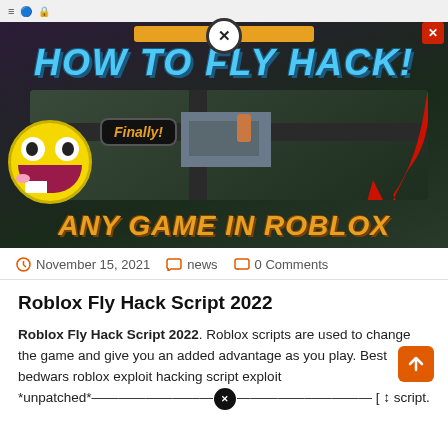[Figure (screenshot): YouTube thumbnail for 'How To Fly Hack! Any Game In Roblox' showing a Roblox game aerial view, emoji face, Finally! text box, and a red arrow, with orange text at bottom]
November 15, 2021  news  0 Comments
Roblox Fly Hack Script 2022
Roblox Fly Hack Script 2022. Roblox scripts are used to change the game and give you an added advantage as you play. Best bedwars roblox exploit hacking script exploit *unpatched*———————— ✖ ———————— [ ↕ script.